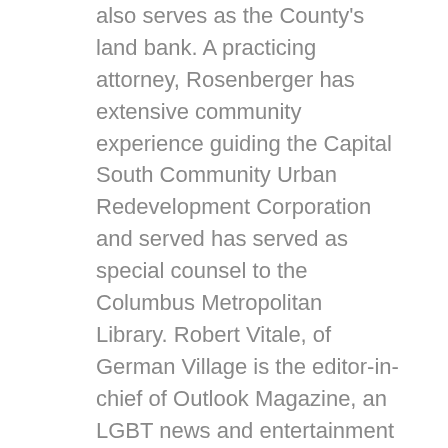also serves as the County's land bank. A practicing attorney, Rosenberger has extensive community experience guiding the Capital South Community Urban Redevelopment Corporation and served has served as special counsel to the Columbus Metropolitan Library. Robert Vitale, of German Village is the editor-in-chief of Outlook Magazine, an LGBT news and entertainment publication. Vitale is a former beat reporter for the Columbus Dispatch assigned to Columbus City Hall and has worked at several other news outlets throughout the eastern United States. “The Committee has been charged with the important work of making sure all residents in all neighborhoods have a voice in the future of our community.”